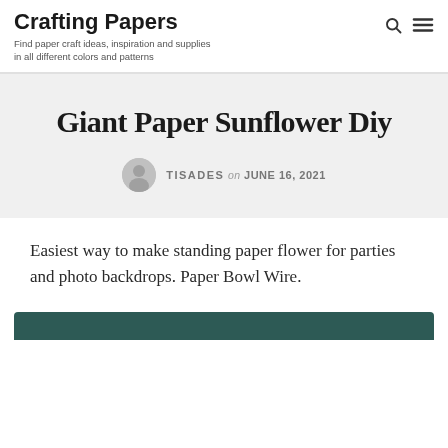Crafting Papers
Find paper craft ideas, inspiration and supplies in all different colors and patterns
Giant Paper Sunflower Diy
TISADES on JUNE 16, 2021
Easiest way to make standing paper flower for parties and photo backdrops. Paper Bowl Wire.
[Figure (photo): Partial view of a dark teal/green image at the bottom of the page]